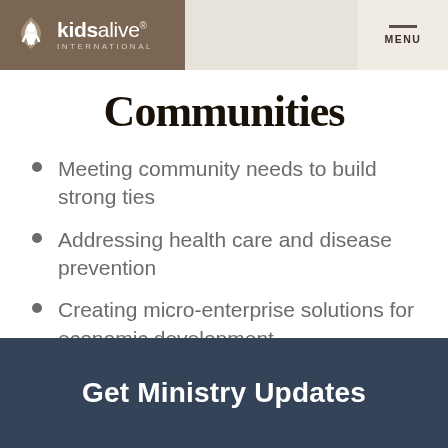[Figure (logo): Kids Alive International logo — white flame/child icon on brown background with 'kidsalive INTERNATIONAL' text]
Communities
Meeting community needs to build strong ties
Addressing health care and disease prevention
Creating micro-enterprise solutions for economic development
Get Ministry Updates